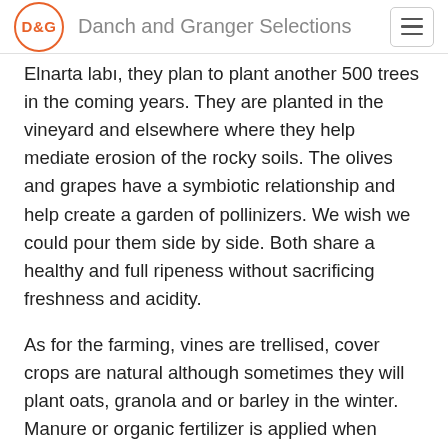D&G  Danch and Granger Selections
Elnarta labı, they plan to plant another 500 trees in the coming years. They are planted in the vineyard and elsewhere where they help mediate erosion of the rocky soils. The olives and grapes have a symbiotic relationship and help create a garden of pollinizers. We wish we could pour them side by side. Both share a healthy and full ripeness without sacrificing freshness and acidity.
As for the farming, vines are trellised, cover crops are natural although sometimes they will plant oats, granola and or barley in the winter. Manure or organic fertilizer is applied when needed along with copper and sulfur. They do not use herbicides or pesticides. As the vines have become more established after years of drought conditions, they are moving towards organic certification. At only 2 hectares, everything is done by hand.